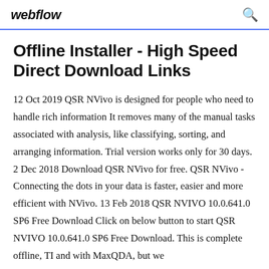webflow
Offline Installer - High Speed Direct Download Links
12 Oct 2019 QSR NVivo is designed for people who need to handle rich information It removes many of the manual tasks associated with analysis, like classifying, sorting, and arranging information. Trial version works only for 30 days. 2 Dec 2018 Download QSR NVivo for free. QSR NVivo - Connecting the dots in your data is faster, easier and more efficient with NVivo. 13 Feb 2018 QSR NVIVO 10.0.641.0 SP6 Free Download Click on below button to start QSR NVIVO 10.0.641.0 SP6 Free Download. This is complete offline, TI and with MaxQDA, but we